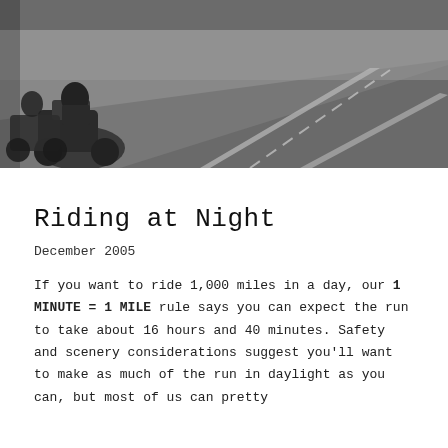[Figure (photo): Black and white photograph of motorcycles on a road, shot from behind showing the road stretching into the distance with lane markings visible.]
Riding at Night
December 2005
If you want to ride 1,000 miles in a day, our 1 MINUTE = 1 MILE rule says you can expect the run to take about 16 hours and 40 minutes. Safety and scenery considerations suggest you'll want to make as much of the run in daylight as you can, but most of us can pretty